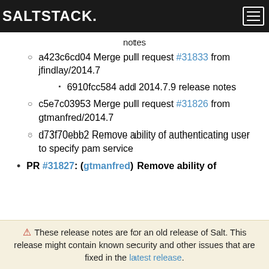SALTSTACK
notes
a423c6cd04 Merge pull request #31833 from jfindlay/2014.7
6910fcc584 add 2014.7.9 release notes
c5e7c03953 Merge pull request #31826 from gtmanfred/2014.7
d73f70ebb2 Remove ability of authenticating user to specify pam service
PR #31827: (gtmanfred) Remove ability of
⚠ These release notes are for an old release of Salt. This release might contain known security and other issues that are fixed in the latest release.